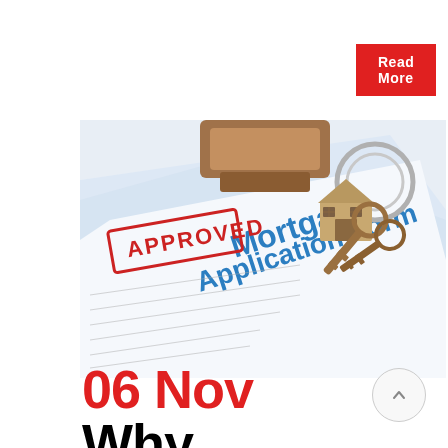Read More
[Figure (photo): Mortgage Application Form with APPROVED stamp and house keychain with keys on top of the document]
06 Nov Why Getting Mortgage